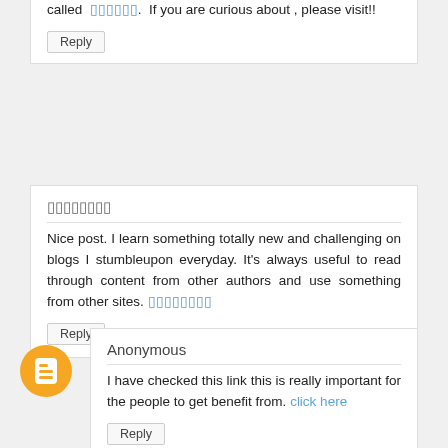called ▯▯▯▯▯▯. If you are curious about , please visit!!
Reply
▯▯▯▯▯▯▯▯
Nice post. I learn something totally new and challenging on blogs I stumbleupon everyday. It's always useful to read through content from other authors and use something from other sites. ▯▯▯▯▯▯▯▯
Reply
Anonymous
I have checked this link this is really important for the people to get benefit from. click here
Reply